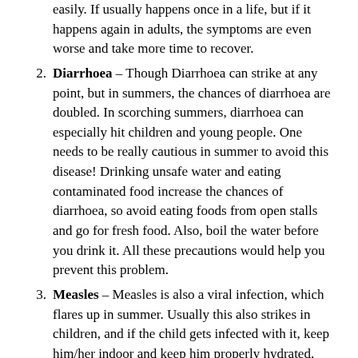easily. It usually happens once in a life, but if it happens again in adults, the symptoms are even worse and take more time to recover.
Diarrhoea – Though Diarrhoea can strike at any point, but in summers, the chances of diarrhoea are doubled. In scorching summers, diarrhoea can especially hit children and young people. One needs to be really cautious in summer to avoid this disease! Drinking unsafe water and eating contaminated food increase the chances of diarrhoea, so avoid eating foods from open stalls and go for fresh food. Also, boil the water before you drink it. All these precautions would help you prevent this problem.
Measles – Measles is also a viral infection, which flares up in summer. Usually this also strikes in children, and if the child gets infected with it, keep him/her indoor and keep him properly hydrated. There are vaccines which help you